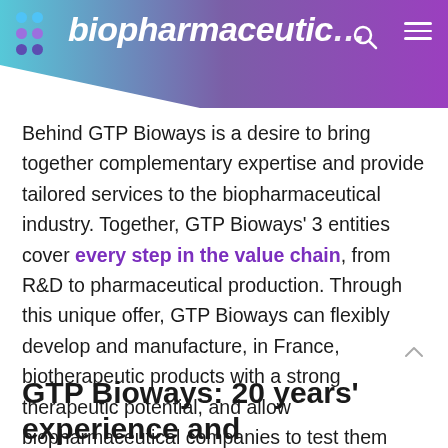biopharmaceutic
Behind GTP Bioways is a desire to bring together complementary expertise and provide tailored services to the biopharmaceutical industry. Together, GTP Bioways' 3 entities cover every step in the value chain, from R&D to pharmaceutical production. Through this unique offer, GTP Bioways can flexibly develop and manufacture, in France, biotherapeutic products with a strong therapeutic potential, and allow biopharmaceutical companies to test them through clinical studies.
GTP Bioways: 20 years' experience and